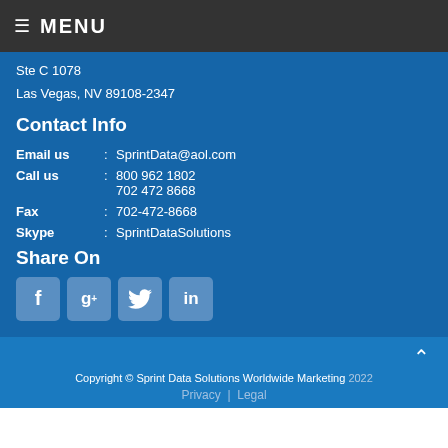MENU
Ste C 1078
Las Vegas, NV 89108-2347
Contact Info
Email us : SprintData@aol.com
Call us : 800 962 1802
702 472 8668
Fax : 702-472-8668
Skype : SprintDataSolutions
Share On
[Figure (infographic): Social media icon buttons: Facebook (f), Google+ (g+), Twitter (bird), LinkedIn (in)]
Copyright © Sprint Data Solutions Worldwide Marketing 2022
Privacy | Legal